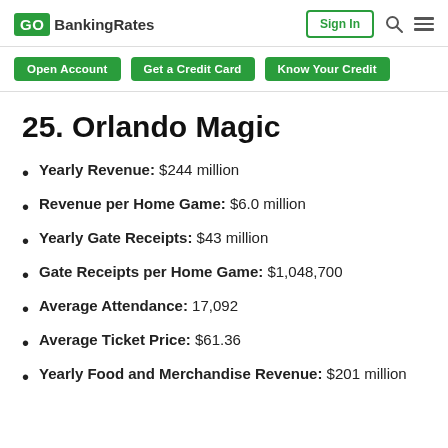GOBankingRates | Sign In
Open Account | Get a Credit Card | Know Your Credit
25. Orlando Magic
Yearly Revenue: $244 million
Revenue per Home Game: $6.0 million
Yearly Gate Receipts: $43 million
Gate Receipts per Home Game: $1,048,700
Average Attendance: 17,092
Average Ticket Price: $61.36
Yearly Food and Merchandise Revenue: $201 million